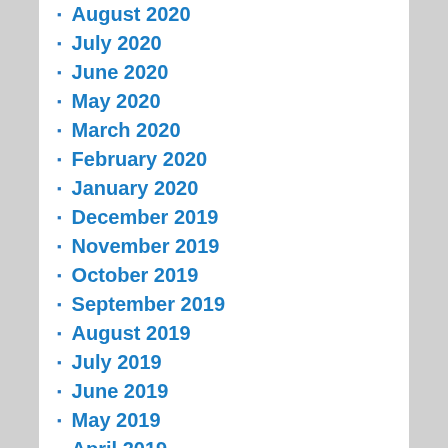August 2020
July 2020
June 2020
May 2020
March 2020
February 2020
January 2020
December 2019
November 2019
October 2019
September 2019
August 2019
July 2019
June 2019
May 2019
April 2019
March 2019
February 2019
January 2019
December 2018
November 2018
October 2018